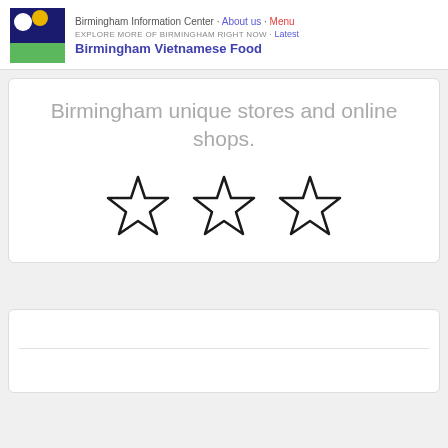Birmingham Information Center · About us · Menu
EXPLORE MORE OF BIRMINGHAM RIGHT NOW · Latest
Birmingham Vietnamese Food
Birmingham unique stores and online shops.
[Figure (other): Three empty star rating icons arranged in a row]
[Figure (other): Partial white card at bottom of page with a horizontal divider line]